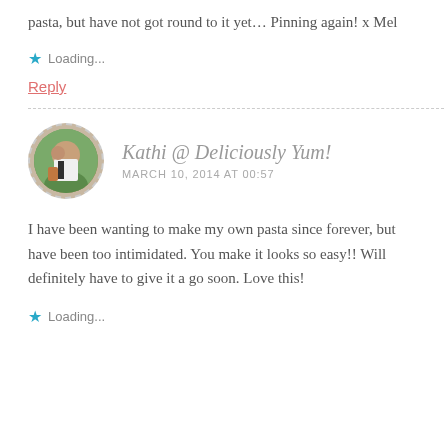This is one dinner I keep thinking about making fresh pasta, but have not got round to it yet… Pinning again! x Mel
Loading...
Reply
Kathi @ Deliciously Yum!
MARCH 10, 2014 AT 00:57
I have been wanting to make my own pasta since forever, but have been too intimidated. You make it looks so easy!! Will definitely have to give it a go soon. Love this!
Loading...